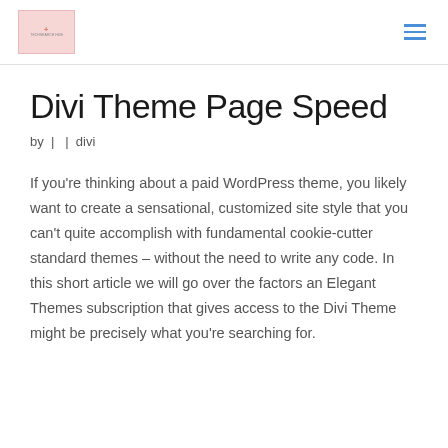[logo] [hamburger menu]
Divi Theme Page Speed
by |  | divi
If you're thinking about a paid WordPress theme, you likely want to create a sensational, customized site style that you can't quite accomplish with fundamental cookie-cutter standard themes – without the need to write any code. In this short article we will go over the factors an Elegant Themes subscription that gives access to the Divi Theme might be precisely what you're searching for.